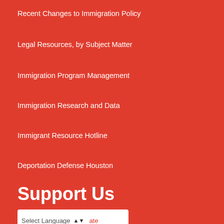Recent Changes to Immigration Policy
Legal Resources, by Subject Matter
Immigration Program Management
Immigration Research and Data
Immigrant Resource Hotline
Deportation Defense Houston
Support Us
Select Language  ate